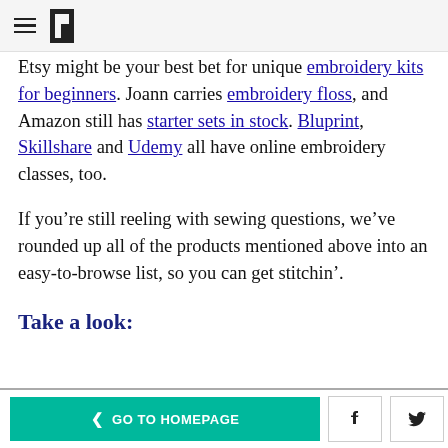[HuffPost logo and hamburger menu]
Etsy might be your best bet for unique embroidery kits for beginners. Joann carries embroidery floss, and Amazon still has starter sets in stock. Bluprint, Skillshare and Udemy all have online embroidery classes, too.
If you’re still reeling with sewing questions, we’ve rounded up all of the products mentioned above into an easy-to-browse list, so you can get stitchin’.
Take a look:
< GO TO HOMEPAGE   [Facebook icon]  [Twitter icon]  [Close]